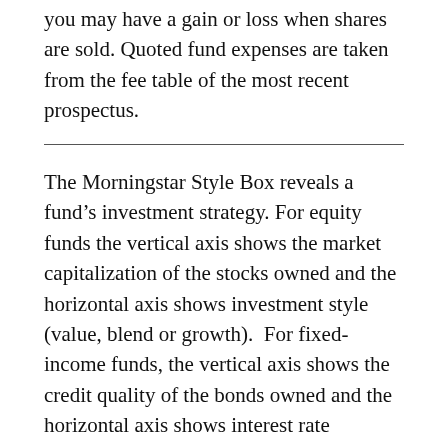you may have a gain or loss when shares are sold. Quoted fund expenses are taken from the fee table of the most recent prospectus.
The Morningstar Style Box reveals a fund's investment strategy. For equity funds the vertical axis shows the market capitalization of the stocks owned and the horizontal axis shows investment style (value, blend or growth).  For fixed-income funds, the vertical axis shows the credit quality of the bonds owned and the horizontal axis shows interest rate sensitivity as measured by a bond's effective duration.
Morningstar seeks credit rating information